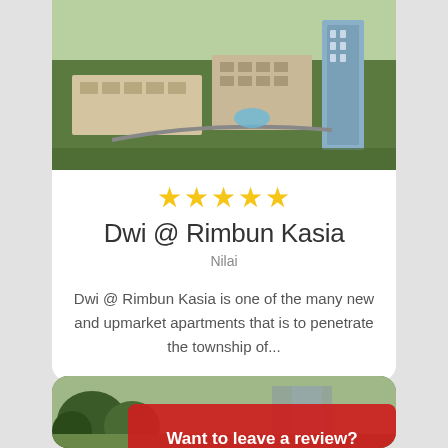[Figure (photo): Aerial view of Dwi @ Rimbun Kasia residential development with buildings and greenery]
★★★★★
Dwi @ Rimbun Kasia
Nilai
Dwi @ Rimbun Kasia is one of the many new and upmarket apartments that is to penetrate the township of...
[Figure (photo): Street-level view of a property with trees, partially overlaid by a red banner]
Want to leave a review? Search for your property here!